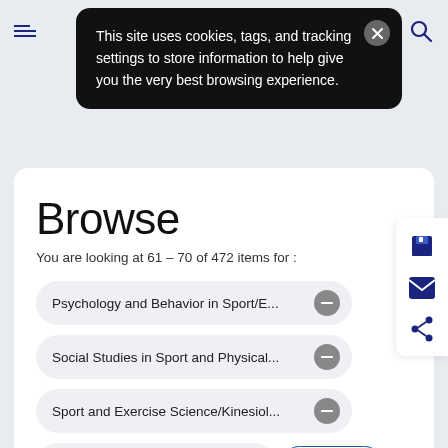Navigation header with hamburger menu and search icon
This site uses cookies, tags, and tracking settings to store information to help give you the very best browsing experience.
Browse
You are looking at 61 – 70 of 472 items for :
Psychology and Behavior in Sport/E...
Social Studies in Sport and Physical...
Sport and Exercise Science/Kinesiol...
Refine by Access: All Content
Clear All